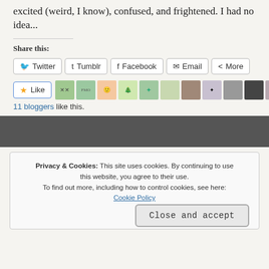excited (weird, I know), confused, and frightened. I had no idea...
Share this:
Twitter  Tumblr  Facebook  Email  More
[Figure (other): Like button and blogger avatars row showing 11 blogger avatars]
11 bloggers like this.
Privacy & Cookies: This site uses cookies. By continuing to use this website, you agree to their use. To find out more, including how to control cookies, see here: Cookie Policy
Close and accept